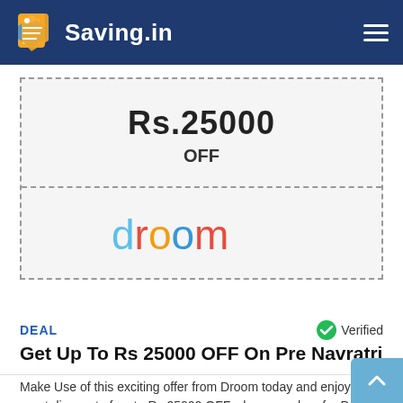Saving.in
[Figure (other): Coupon box with dashed border showing Rs.25000 OFF and Droom logo]
DEAL   Verified
Get Up To Rs 25000 OFF On Pre Navratri
[Figure (other): GET DEAL button (dark blue)]
Make Use of this exciting offer from Droom today and enjoy a great discount of up to Rs 25000 OFF when you shop for Pre